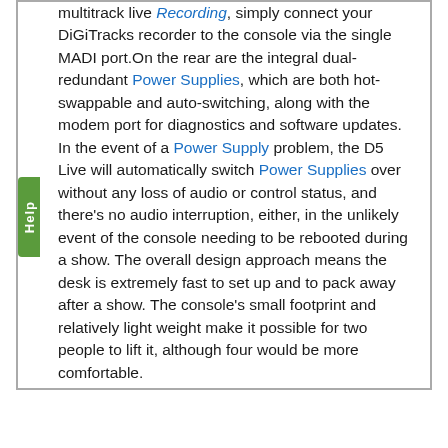multitrack live Recording, simply connect your DiGiTracks recorder to the console via the single MADI port.On the rear are the integral dual-redundant Power Supplies, which are both hot-swappable and auto-switching, along with the modem port for diagnostics and software updates. In the event of a Power Supply problem, the D5 Live will automatically switch Power Supplies over without any loss of audio or control status, and there's no audio interruption, either, in the unlikely event of the console needing to be rebooted during a show. The overall design approach means the desk is extremely fast to set up and to pack away after a show. The console's small footprint and relatively light weight make it possible for two people to lift it, although four would be more comfortable.